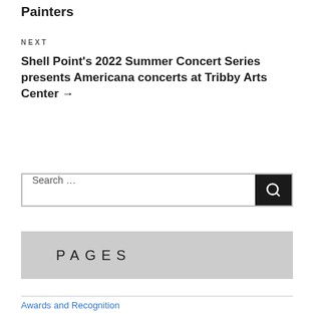Painters
NEXT
Shell Point's 2022 Summer Concert Series presents Americana concerts at Tribby Arts Center →
Search …
PAGES
Awards and Recognition